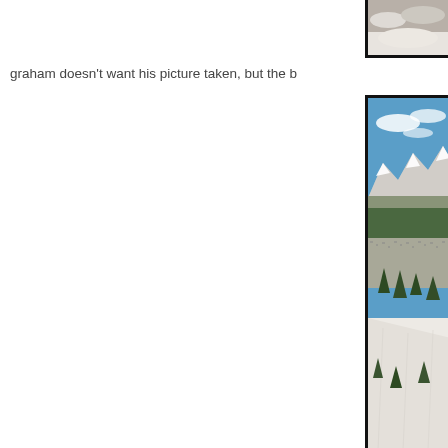[Figure (photo): Partial view of a snow-covered ski slope photograph at the very top of the page, cropped — showing snowy mountain terrain with a black border on left and bottom.]
graham doesn't want his picture taken, but the b
[Figure (photo): Panoramic winter mountain landscape photograph taken from a ski slope. Shows a broad valley with a snow-covered town (likely Breckenridge, Colorado) in the middle distance, surrounded by pine-forested hillsides. The background features dramatic snow-capped Rocky Mountain peaks under a bright blue sky with scattered white clouds. The foreground shows a groomed snow ski run with sparse evergreen trees. The photo has a thick black border.]